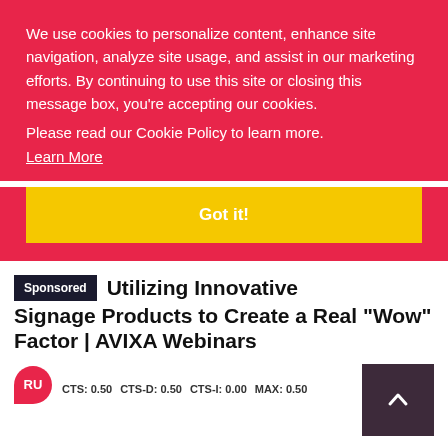We use cookies to personalize content, enhance site navigation, analyze site usage, and assist in our marketing efforts. By continuing to use this site or closing this message box, you're accepting our cookies.
Please read our Cookie Policy to learn more.
Learn More
Got it!
Sponsored
Utilizing Innovative Signage Products to Create a Real "Wow" Factor | AVIXA Webinars
RU  CTS: 0.50  CTS-D: 0.50  CTS-I: 0.00  MAX: 0.50